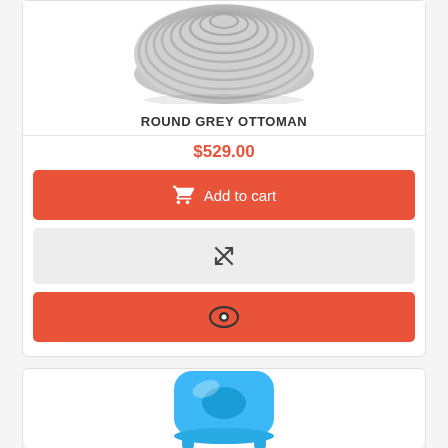[Figure (photo): Grey round woven rope ottoman, top-down view showing texture, partially cropped at top]
ROUND GREY OTTOMAN
$529.00
Add to cart (button with shopping cart icon)
[Figure (other): Compare icon (crossed arrows) on grey button]
[Figure (other): Quick view icon (eye symbol) on coral/red button]
[Figure (photo): Blue plastic children's chair, partially visible at bottom of page]